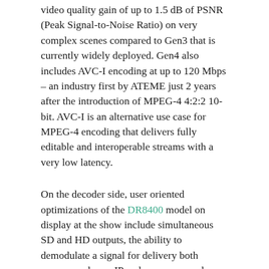video quality gain of up to 1.5 dB of PSNR (Peak Signal-to-Noise Ratio) on very complex scenes compared to Gen3 that is currently widely deployed. Gen4 also includes AVC-I encoding at up to 120 Mbps – an industry first by ATEME just 2 years after the introduction of MPEG-4 4:2:2 10-bit. AVC-I is an alternative use case for MPEG-4 encoding that delivers fully editable and interoperable streams with a very low latency.
On the decoder side, user oriented optimizations of the DR8400 model on display at the show include simultaneous SD and HD outputs, the ability to demodulate a signal for delivery both compressed over IP and uncompressed over HD-SDI, easier configuration from the front panel and more probing and monitoring functions on the web interface.
ATEME Converged media solutions presented at the show revolve around the TITAN carrier grade platform for massive parallel transcoding. "Multi-screen delivery comes with a unique challenge: It is a moving target" says Rémi Beaudouin, Converged Media Solutions Manager. "Operators have to support new file and live content, new resolutions, new adaptive streaming formats